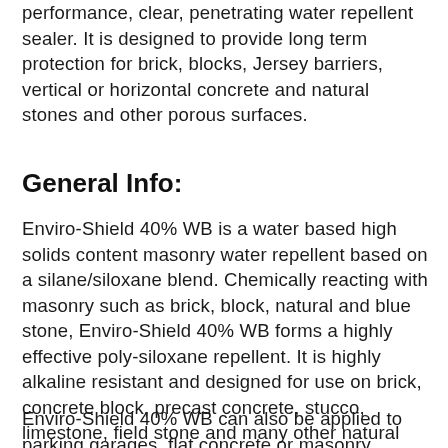performance, clear, penetrating water repellent sealer.  It is designed to provide long term protection for brick, blocks, Jersey barriers, vertical or horizontal concrete and natural stones and other porous surfaces.
General Info:
Enviro-Shield 40% WB is a water based high solids content masonry water repellent based on a silane/siloxane blend.  Chemically reacting with masonry such as brick, block, natural and blue stone, Enviro-Shield 40% WB forms a highly effective poly-siloxane repellent. It is highly alkaline resistant and designed for use on brick, concrete block, precast concrete, stucco, limestone, field stone and many other natural stones.
Enviro-Shield 40% WB can also be applied to parking garages, flat concrete or masonry surfaces to reduce